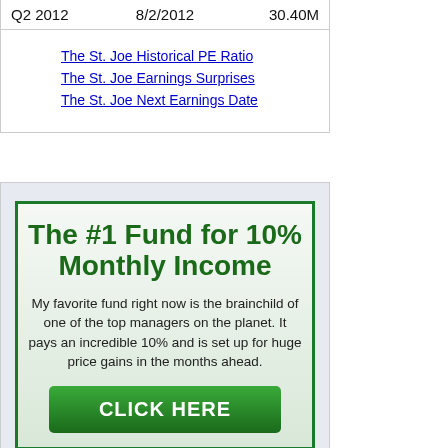| Q2 2012 | 8/2/2012 | 30.40M |
| --- | --- | --- |
The St. Joe Historical PE Ratio
The St. Joe Earnings Surprises
The St. Joe Next Earnings Date
[Figure (infographic): Advertisement for a fund promising 10% monthly income with a CLICK HERE button. Title: The #1 Fund for 10% Monthly Income. Body: My favorite fund right now is the brainchild of one of the top managers on the planet. It pays an incredible 10% and is set up for huge price gains in the months ahead.]